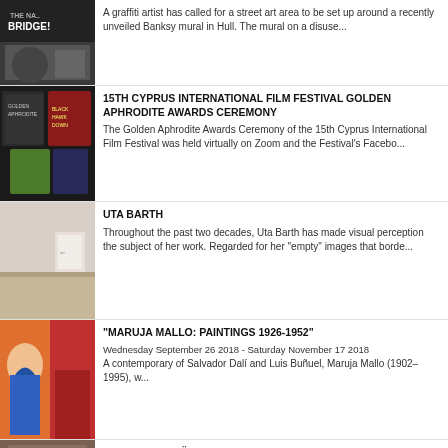[Figure (photo): Black and white photo with text 'BRIDGE!' visible, street art style]
A graffiti artist has called for a street art area to be set up around a recently unveiled Banksy mural in Hull. The mural on a disuse...
[Figure (photo): Collage of film festival posters including Black Hawk Down, Golden Aphrodite Awards]
15TH CYPRUS INTERNATIONAL FILM FESTIVAL GOLDEN APHRODITE AWARDS CEREMONY
The Golden Aphrodite Awards Ceremony of the 15th Cyprus International Film Festival was held virtually on Zoom and the Festival's Facebo...
[Figure (photo): Gallery interior with white walls and wooden floor, minimalist art installation]
UTA BARTH
Throughout the past two decades, Uta Barth has made visual perception the subject of her work. Regarded for her "empty" images that borde...
[Figure (photo): Colorful painting featuring a woman with blue hair and orange/red decorative background]
"MARUJA MALLO: PAINTINGS 1926-1952"
Wednesday September 26 2018 - Saturday November 17 2018
A contemporary of Salvador Dalí and Luis Buñuel, Maruja Mallo (1902–1995), w...
[Figure (photo): Portrait painting of Hürrem Sultan in traditional Ottoman attire, ornate gold frame]
PAINTING OF HÜRREM SULTAN SOLD FOR $173,000 IN LONDON AUCTION
A rare painting of Hürrem Sultan, known in the West as Roxelana, the wife of legendry Ottoman Sultan Suleiman the Magnificent, was sold in a...